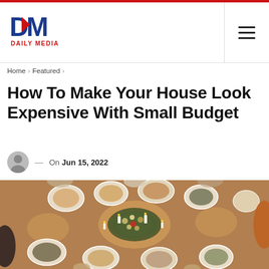Daily Media — Home > Featured
How To Make Your House Look Expensive With Small Budget
On Jun 15, 2022
[Figure (photo): Overhead aerial view of people gathered around a dinner table covered with various dishes, bread, candles and floral centerpiece]